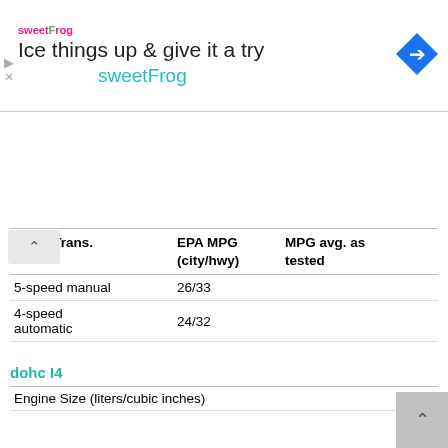[Figure (screenshot): Advertisement banner for sweetFrog frozen yogurt with logo, headline 'Ice things up & give it a try', subtext 'sweetFrog', and a blue navigation diamond icon.]
| Avail. Trans. | EPA MPG (city/hwy) | MPG avg. as tested |
| --- | --- | --- |
| 5-speed manual | 26/33 |  |
| 4-speed automatic | 24/32 |  |
dohc I4
|  |  |  |
| --- | --- | --- |
| Engine Size (liters/cubic inches) |  | 1.8/109 |
| Engine HP |  | 140 |
| Engine Torque (lb-ft) |  | 120 |
| Avail. Trans. | EPA MPG (city/hwy) | MPG avg. as tested |
| --- | --- | --- |
| 5-speed manual | 23/31 |  |
| 4-speed automatic | 22/30 |  |